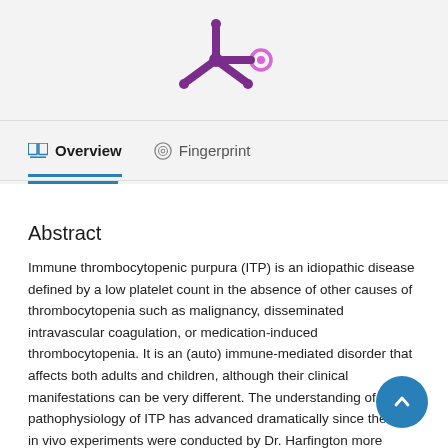[Figure (logo): Purple asterisk/splat logo with a small purple circle to its right — Mendeley or similar academic platform logo]
Overview   Fingerprint
Abstract
Immune thrombocytopenic purpura (ITP) is an idiopathic disease defined by a low platelet count in the absence of other causes of thrombocytopenia such as malignancy, disseminated intravascular coagulation, or medication-induced thrombocytopenia. It is an (auto) immune-mediated disorder that affects both adults and children, although their clinical manifestations can be very different. The understanding of the pathophysiology of ITP has advanced dramatically since the first in vivo experiments were conducted by Dr. Harfington more